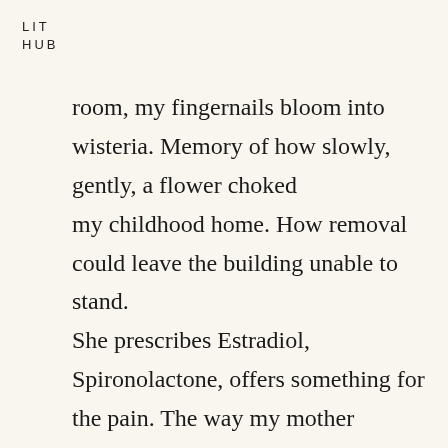LIT
HUB
room, my fingernails bloom into wisteria. Memory of how slowly, gently, a flower choked my childhood home. How removal could leave the building unable to stand.
She prescribes Estradiol, Spironolactone, offers something for the pain. The way my mother whitewashed the porch. How she knew the structure was beyond repair & still
insisted on a graceful collapsing